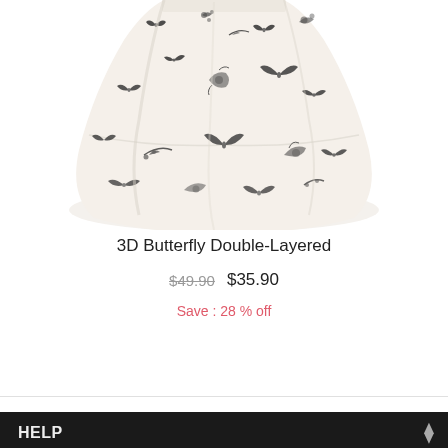[Figure (photo): A white/cream floral printed double-layered skirt with black butterfly and flower prints, shown from the waist down]
3D Butterfly Double-Layered
$49.90  $35.90
Save: 28 % off